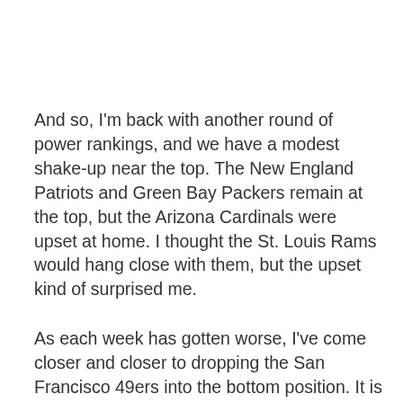And so, I'm back with another round of power rankings, and we have a modest shake-up near the top. The New England Patriots and Green Bay Packers remain at the top, but the Arizona Cardinals were upset at home. I thought the St. Louis Rams would hang close with them, but the upset kind of surprised me.
As each week has gotten worse, I've come closer and closer to dropping the San Francisco 49ers into the bottom position. It is tempting to drop them even below the winless Detroit Lions, but at the bottom of the rankings, they might all be interchangeable. The 49ers defense is better than Detroit's, but their offense is not